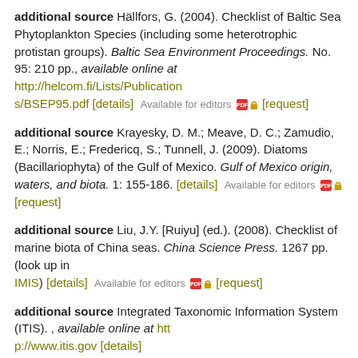additional source Hällfors, G. (2004). Checklist of Baltic Sea Phytoplankton Species (including some heterotrophic protistan groups). Baltic Sea Environment Proceedings. No. 95: 210 pp., available online at http://helcom.fi/Lists/Publications/BSEP95.pdf [details]  Available for editors  [request]
additional source Krayesky, D. M.; Meave, D. C.; Zamudio, E.; Norris, E.; Fredericq, S.; Tunnell, J. (2009). Diatoms (Bacillariophyta) of the Gulf of Mexico. Gulf of Mexico origin, waters, and biota. 1: 155-186. [details]  Available for editors  [request]
additional source Liu, J.Y. [Ruiyu] (ed.). (2008). Checklist of marine biota of China seas. China Science Press. 1267 pp. (look up in IMIS) [details]  Available for editors  [request]
additional source Integrated Taxonomic Information System (ITIS). , available online at http://www.itis.gov [details]